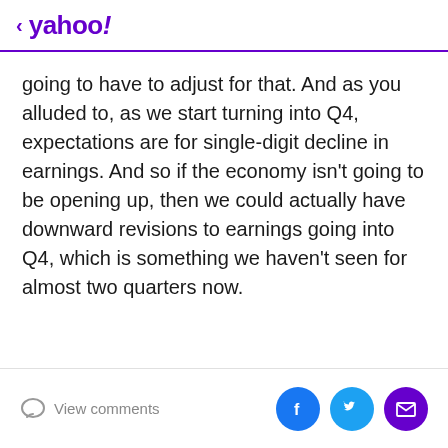< yahoo!
going to have to adjust for that. And as you alluded to, as we start turning into Q4, expectations are for single-digit decline in earnings. And so if the economy isn't going to be opening up, then we could actually have downward revisions to earnings going into Q4, which is something we haven't seen for almost two quarters now.
View comments